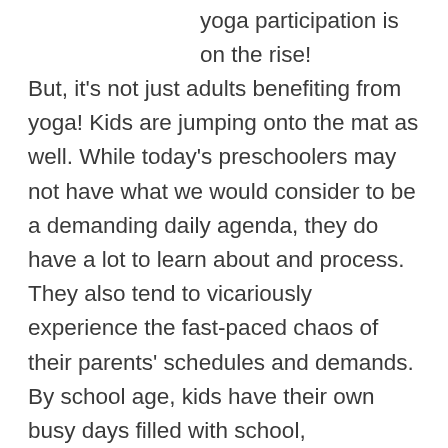yoga participation is on the rise!
But, it's not just adults benefiting from yoga! Kids are jumping onto the mat as well. While today's preschoolers may not have what we would consider to be a demanding daily agenda, they do have a lot to learn about and process. They also tend to vicariously experience the fast-paced chaos of their parents' schedules and demands. By school age, kids have their own busy days filled with school, socializing, peer pressure, homework, after school sports and activities, and technology. Many parents, knowing their children are under pressure and over-stimulated, seek ways to help their kids reduce stress, improve focus and simply be more fit. Kids yoga classes can